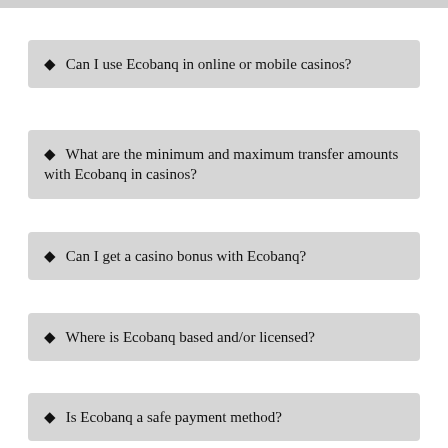♦ Can I use Ecobanq in online or mobile casinos?
♦ What are the minimum and maximum transfer amounts with Ecobanq in casinos?
♦ Can I get a casino bonus with Ecobanq?
♦ Where is Ecobanq based and/or licensed?
♦ Is Ecobanq a safe payment method?